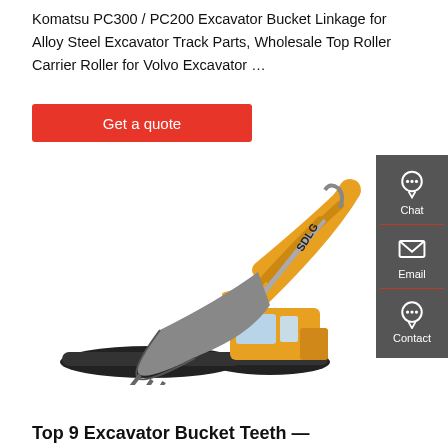Komatsu PC300 / PC200 Excavator Bucket Linkage for Alloy Steel Excavator Track Parts, Wholesale Top Roller Carrier Roller for Volvo Excavator …
[Figure (other): Red 'Get a quote' button]
[Figure (photo): Orange SDLG excavator with extended boom arm and bucket, shown on white background]
[Figure (other): Dark grey sidebar panel with Chat, Email, and Contact icons]
Top 9 Excavator Bucket Teeth —